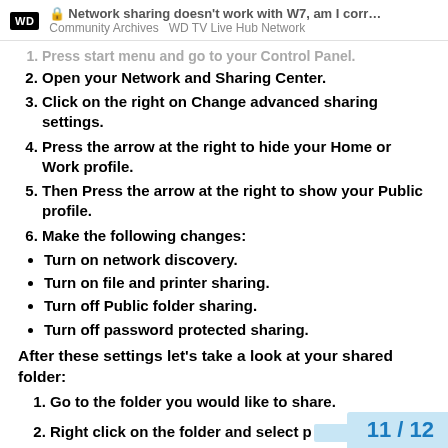🔒 Network sharing doesn't work with W7, am I corr… | Community Archives  WD TV Live Hub Network
1. Press start menu and go to your Control Panel.
2. Open your Network and Sharing Center.
3. Click on the right on Change advanced sharing settings.
4. Press the arrow at the right to hide your Home or Work profile.
5. Then Press the arrow at the right to show your Public profile.
6. Make the following changes:
Turn on network discovery.
Turn on file and printer sharing.
Turn off Public folder sharing.
Turn off password protected sharing.
After these settings let's take a look at your shared folder:
1. Go to the folder you would like to share.
2. Right click on the folder and select p…
3. Go to the tab 'Sharing'.
11 / 12